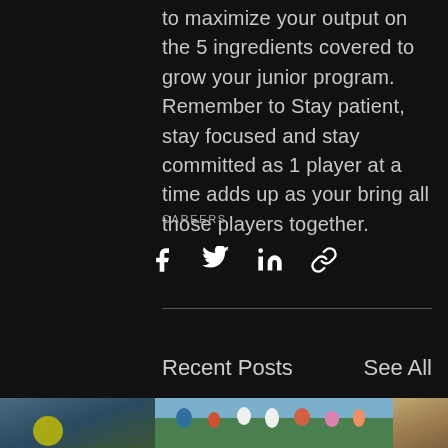to maximize your output on the 5 ingredients covered to grow your junior program. Remember to Stay patient, stay focused and stay committed as 1 player at a time adds up as your bring all those players together.
CAREERS
[Figure (infographic): Social share icons: Facebook (f), Twitter (bird), LinkedIn (in), Link (chain)]
Recent Posts
See All
[Figure (photo): Group photo of tennis players on an outdoor court with palm trees in the background]